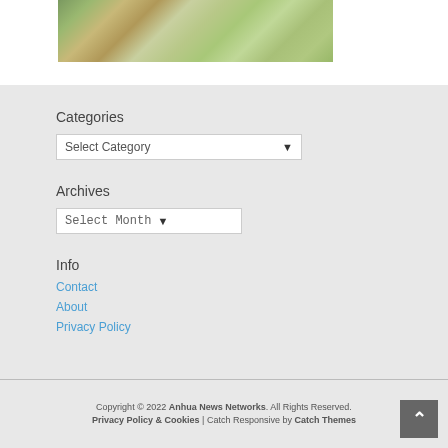[Figure (photo): Partial photo of an outdoor garden/pathway scene with autumn foliage, stones, and colorful ground cover]
Categories
Select Category
Archives
Select Month
Info
Contact
About
Privacy Policy
Copyright © 2022 Anhua News Networks. All Rights Reserved. Privacy Policy & Cookies | Catch Responsive by Catch Themes